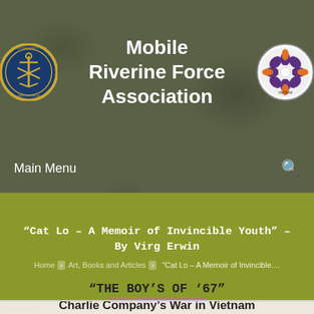Mobile Riverine Force Association
Main Menu
“Cat Lo – A Memoir of Invincible Youth” – By Virg Erwin
Home » Art, Books and Articles » "Cat Lo – A Memoir of Invincible....
“THE BOY’S OF ’67”
Charlie Company’s War in Vietnam

By Andrew Weist